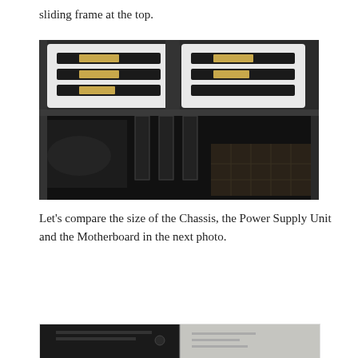sliding frame at the top.
[Figure (photo): Interior view of a PC computer chassis showing drive bays with white frames and gold/tan drive sleds at the top, and a dark interior with cable management below.]
Let's compare the size of the Chassis, the Power Supply Unit and the Motherboard in the next photo.
[Figure (photo): Bottom portion of a comparison photo showing PC components side by side.]